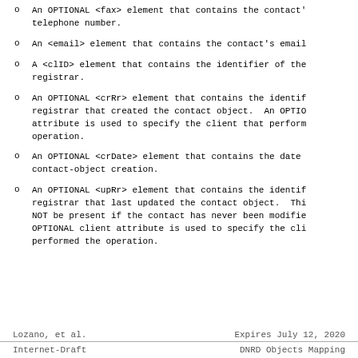An OPTIONAL <fax> element that contains the contact's telephone number.
An <email> element that contains the contact's email.
A <clID> element that contains the identifier of the registrar.
An OPTIONAL <crRr> element that contains the identifier of the registrar that created the contact object.  An OPTIONAL attribute is used to specify the client that performed the operation.
An OPTIONAL <crDate> element that contains the date of contact-object creation.
An OPTIONAL <upRr> element that contains the identifier of the registrar that last updated the contact object.  This MUST NOT be present if the contact has never been modified.  An OPTIONAL client attribute is used to specify the client that performed the operation.
Lozano, et al.                    Expires July 12, 2020
Internet-Draft              DNRD Objects Mapping